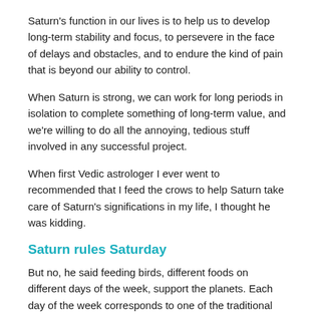Saturn's function in our lives is to help us to develop long-term stability and focus, to persevere in the face of delays and obstacles, and to endure the kind of pain that is beyond our ability to control.
When Saturn is strong, we can work for long periods in isolation to complete something of long-term value, and we're willing to do all the annoying, tedious stuff involved in any successful project.
When first Vedic astrologer I ever went to recommended that I feed the crows to help Saturn take care of Saturn's significations in my life, I thought he was kidding.
Saturn rules Saturday
But no, he said feeding birds, different foods on different days of the week, support the planets. Each day of the week corresponds to one of the traditional seven planets, and as you've figured out, Saturn rules Saturday. I was intrigued by this unusual idea, so I started to feed the crows on